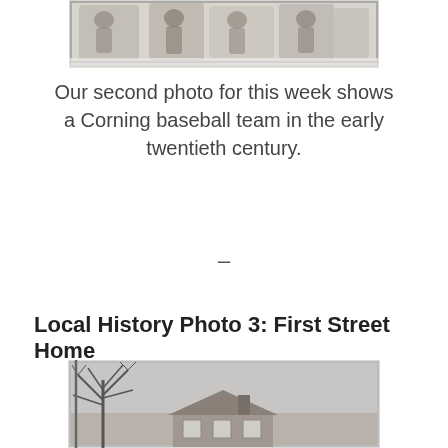[Figure (photo): Partial view of a black and white photograph showing a Corning baseball team in the early twentieth century, cropped at top of page.]
Our second photo for this week shows a Corning baseball team in the early twentieth century.
–
Local History Photo 3: First Street Home
[Figure (photo): Black and white photograph showing a house on First Street with a bare tree in the foreground, partially visible at bottom of page.]